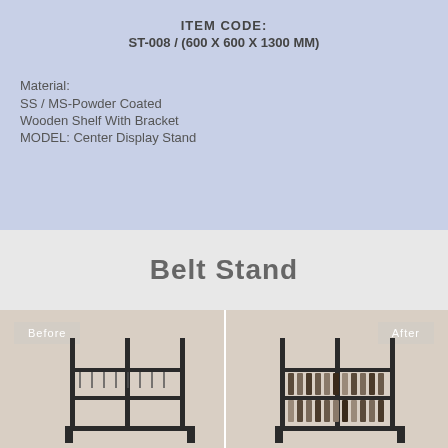ITEM CODE:
ST-008 / (600 X 600 X 1300 MM)
Material:
SS / MS-Powder Coated
Wooden Shelf With Bracket
MODEL: Center Display Stand
Belt Stand
[Figure (photo): Before and after photos of a Belt Stand showing metal rack display with hanging rods, split by a vertical white divider line. 'Before' label top-left, 'After' label top-right.]